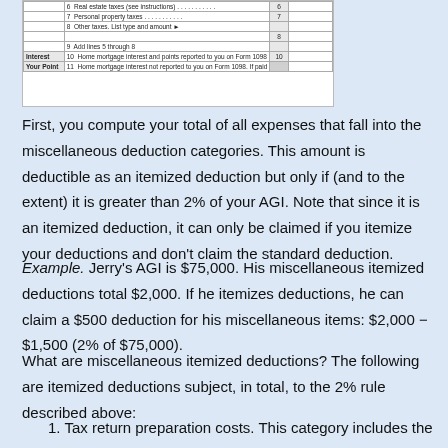[Figure (table-as-image): Partial IRS Schedule A tax form showing lines 6-11 including real estate taxes, personal property taxes, other taxes, add lines 5 through 8, home mortgage interest and points reported on Form 1098, and home mortgage interest not reported on Form 1098.]
First, you compute your total of all expenses that fall into the miscellaneous deduction categories. This amount is deductible as an itemized deduction but only if (and to the extent) it is greater than 2% of your AGI. Note that since it is an itemized deduction, it can only be claimed if you itemize your deductions and don't claim the standard deduction.
Example. Jerry's AGI is $75,000. His miscellaneous itemized deductions total $2,000. If he itemizes deductions, he can claim a $500 deduction for his miscellaneous items: $2,000 − $1,500 (2% of $75,000).
What are miscellaneous itemized deductions? The following are itemized deductions subject, in total, to the 2% rule described above:
1. Tax return preparation costs. This category includes the fee to